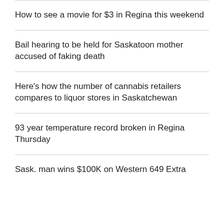How to see a movie for $3 in Regina this weekend
Bail hearing to be held for Saskatoon mother accused of faking death
Here's how the number of cannabis retailers compares to liquor stores in Saskatchewan
93 year temperature record broken in Regina Thursday
Sask. man wins $100K on Western 649 Extra